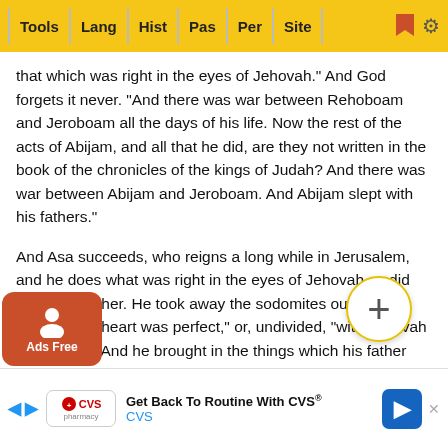Tools | Lang | Hist | Pas | Per | Site
that which was right in the eyes of Jehovah." And God forgets it never. "And there was war between Rehoboam and Jeroboam all the days of his life. Now the rest of the acts of Abijam, and all that he did, are they not written in the book of the chronicles of the kings of Judah? And there was war between Abijam and Jeroboam. And Abijam slept with his fathers."
And Asa succeeds, who reigns a long while in Jerusalem, and he does what was right in the eyes of Jehovah as did David his father. He took away the sodomites out of the land. "Asa's heart was perfect," or, undivided, "with Jehovah all his days. And he brought in the things which his father had dedicated, and the things which himself had dedicated, into the house of Jehovah, silver, and gold, and vessels." We find the war continued, and Baasha king of Israel builds Ramah that he might cut off every one to or from Asa king of Judah. But Asa hearkens to the Lord, and he finds that
[Figure (screenshot): CVS advertisement banner: 'Get Back To Routine With CVS®' with CVS pharmacy logo and navigation arrow icon]
[Figure (infographic): Ads Free badge (orange rounded rectangle with person icon) and circular plus button overlay]